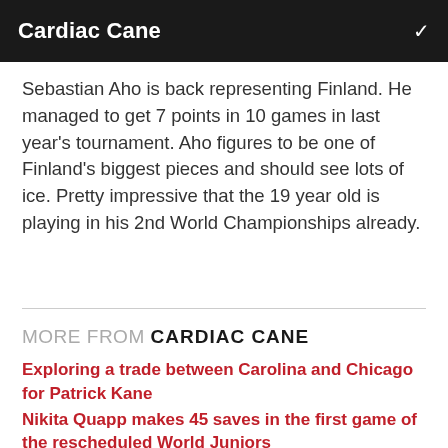Cardiac Cane
Sebastian Aho is back representing Finland. He managed to get 7 points in 10 games in last year's tournament. Aho figures to be one of Finland's biggest pieces and should see lots of ice. Pretty impressive that the 19 year old is playing in his 2nd World Championships already.
MORE FROM CARDIAC CANE
Exploring a trade between Carolina and Chicago for Patrick Kane
Nikita Quapp makes 45 saves in the first game of the rescheduled World Juniors